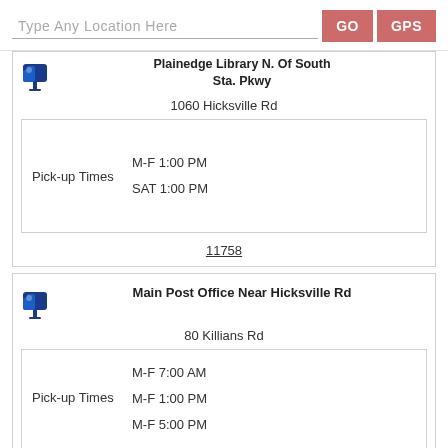Type Any Location Here
GO
GPS
Plainedge Library N. Of South Sta. Pkwy
1060 Hicksville Rd
Pick-up Times   M-F 1:00 PM   SAT 1:00 PM
11758
Main Post Office Near Hicksville Rd
80 Killians Rd
Pick-up Times   M-F 7:00 AM   M-F 1:00 PM   M-F 5:00 PM